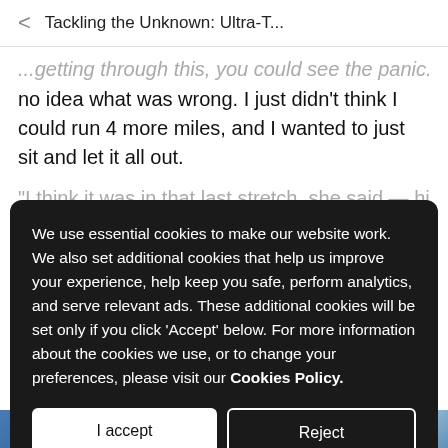< Tackling the Unknown: Ultra-T...
no idea what was wrong. I just didn't think I could run 4 more miles, and I wanted to just sit and let it all out.
We use essential cookies to make our website work. We also set additional cookies that help us improve your experience, help keep you safe, perform analytics, and serve relevant ads. These additional cookies will be set only if you click 'Accept' below. For more information about the cookies we use, or to change your preferences, please visit our Cookies Policy.
[Figure (photo): Blue and white snowy/icy landscape image strip at bottom of page]